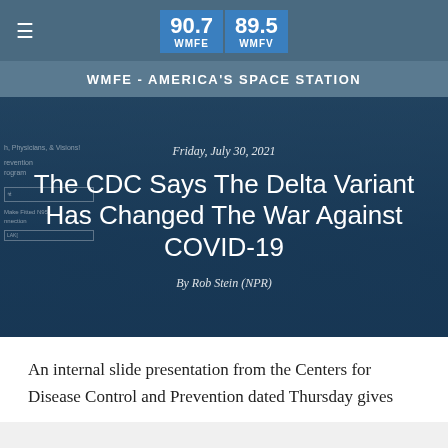90.7 WMFE | 89.5 WMFV — WMFE - AMERICA'S SPACE STATION
[Figure (photo): Hero image of a medical/health setting with a teal-blue color overlay. Shows a room with signs about physicians and prevention, with a biohazard symbol visible. Text overlay includes date, article title, and byline.]
Friday, July 30, 2021
The CDC Says The Delta Variant Has Changed The War Against COVID-19
By Rob Stein (NPR)
An internal slide presentation from the Centers for Disease Control and Prevention dated Thursday gives